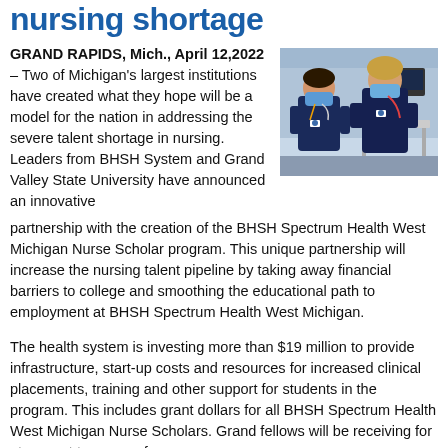nursing shortage
GRAND RAPIDS, Mich., April 12,2022 – Two of Michigan's largest institutions have created what they hope will be a model for the nation in addressing the severe talent shortage in nursing. Leaders from BHSH System and Grand Valley State University have announced an innovative partnership with the creation of the BHSH Spectrum Health West Michigan Nurse Scholar program. This unique partnership will increase the nursing talent pipeline by taking away financial barriers to college and smoothing the educational path to employment at BHSH Spectrum Health West Michigan.
[Figure (photo): Two nurses in dark blue scrubs and masks standing in a clinical setting]
The health system is investing more than $19 million to provide infrastructure, start-up costs and resources for increased clinical placements, training and other support for students in the program. This includes grant dollars for all BHSH Spectrum Health West Michigan Nurse Scholars. Grand fellows will be receiving for at no cost to answer for